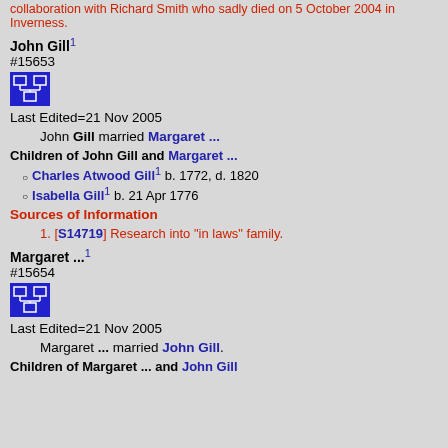collaboration with Richard Smith who sadly died on 5 October 2004 in Inverness.
John Gill¹ #15653
[Figure (other): Blue icon with family tree/pedigree chart symbol]
Last Edited=21 Nov 2005
John Gill married Margaret ...
Children of John Gill and Margaret ...
Charles Atwood Gill¹ b. 1772, d. 1820
Isabella Gill¹ b. 21 Apr 1776
Sources of Information
1. [S14719] Research into "in laws" family.
Margaret ...¹ #15654
[Figure (other): Blue icon with family tree/pedigree chart symbol]
Last Edited=21 Nov 2005
Margaret ... married John Gill.
Children of Margaret ... and John Gill